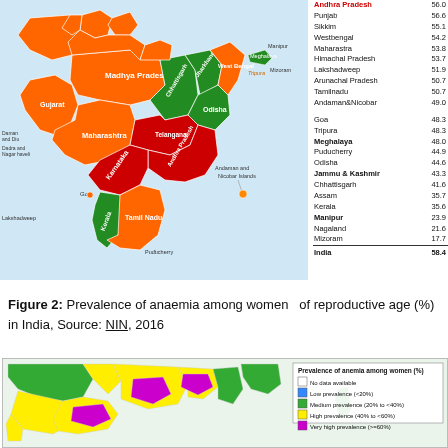[Figure (map): Choropleth map of India showing prevalence of anaemia among women of reproductive age (%) by state, with states colored in red (high), orange, and green categories. A data table lists states and their percentage values alongside the map.]
Figure 2: Prevalence of anaemia among women of reproductive age (%) in India, Source: NIN, 2016
[Figure (map): District-level choropleth map of India showing prevalence of anemia among women (%) with legend: No data available (white), Low prevalence <20% (blue), Medium prevalence 20% to <40% (green), High prevalence 40% to <60% (yellow), Very high prevalence >=60% (magenta/pink).]